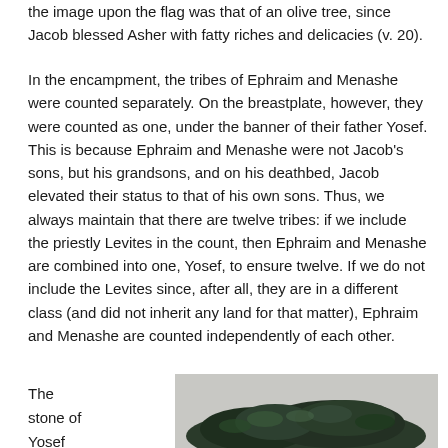the image upon the flag was that of an olive tree, since Jacob blessed Asher with fatty riches and delicacies (v. 20).
In the encampment, the tribes of Ephraim and Menashe were counted separately. On the breastplate, however, they were counted as one, under the banner of their father Yosef. This is because Ephraim and Menashe were not Jacob's sons, but his grandsons, and on his deathbed, Jacob elevated their status to that of his own sons. Thus, we always maintain that there are twelve tribes: if we include the priestly Levites in the count, then Ephraim and Menashe are combined into one, Yosef, to ensure twelve. If we do not include the Levites since, after all, they are in a different class (and did not inherit any land for that matter), Ephraim and Menashe are counted independently of each other.
The stone of Yosef
[Figure (photo): Photograph of a dark green mineral/rock specimen, partially visible at the bottom of the page, against a light gray background.]